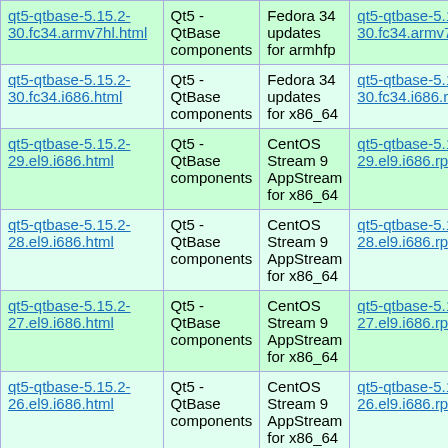| File | Package | Repository | Download |
| --- | --- | --- | --- |
| qt5-qtbase-5.15.2-30.fc34.armv7hl.html | Qt5 - QtBase components | Fedora 34 updates for armhfp | qt5-qtbase-5.15.2-30.fc34.armv7hl.rpm |
| qt5-qtbase-5.15.2-30.fc34.i686.html | Qt5 - QtBase components | Fedora 34 updates for x86_64 | qt5-qtbase-5.15.2-30.fc34.i686.rpm |
| qt5-qtbase-5.15.2-29.el9.i686.html | Qt5 - QtBase components | CentOS Stream 9 AppStream for x86_64 | qt5-qtbase-5.15.2-29.el9.i686.rpm |
| qt5-qtbase-5.15.2-28.el9.i686.html | Qt5 - QtBase components | CentOS Stream 9 AppStream for x86_64 | qt5-qtbase-5.15.2-28.el9.i686.rpm |
| qt5-qtbase-5.15.2-27.el9.i686.html | Qt5 - QtBase components | CentOS Stream 9 AppStream for x86_64 | qt5-qtbase-5.15.2-27.el9.i686.rpm |
| qt5-qtbase-5.15.2-26.el9.i686.html | Qt5 - QtBase components | CentOS Stream 9 AppStream for x86_64 | qt5-qtbase-5.15.2-26.el9.i686.rpm |
| qt5-qtbase-5.15.2-32.fc35.armv7hl.html | Qt5 - QtBase components | Fedora 35 ... | qt5-qtbase-5.15.2-32.fc35...armv7hl.rpm |